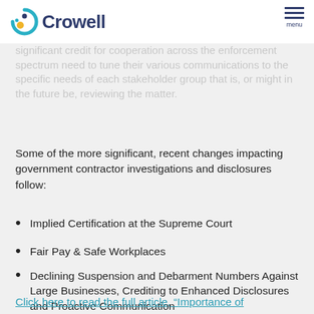Crowell [logo] menu
significant credit for cooperation across the enforcement spectrum need to tune their various communications to the specific needs of each stakeholder group that is, or might in the future be, reviewing the matter.
Some of the more significant, recent changes impacting government contractor investigations and disclosures follow:
Implied Certification at the Supreme Court
Fair Pay & Safe Workplaces
Declining Suspension and Debarment Numbers Against Large Businesses, Crediting to Enhanced Disclosures and Proactive Communication
Click here to read the full article, “Importance of